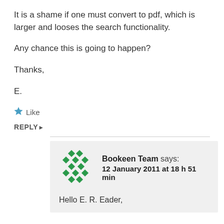It is a shame if one must convert to pdf, which is larger and looses the search functionality.
Any chance this is going to happen?
Thanks,
E.
★ Like
REPLY ▶
Bookeen Team says: 12 January 2011 at 18 h 51 min
Hello E. R. Eader,